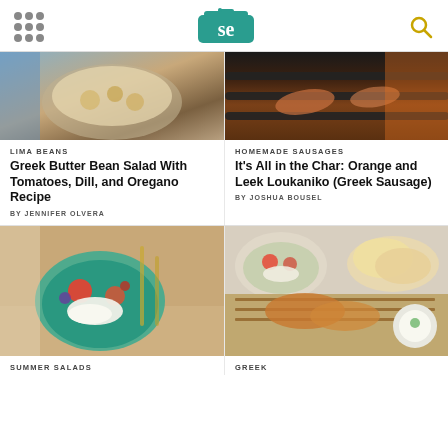Serious Eats
[Figure (photo): Bowl of Greek butter bean salad with tomatoes]
LIMA BEANS
Greek Butter Bean Salad With Tomatoes, Dill, and Oregano Recipe
BY JENNIFER OLVERA
[Figure (photo): Homemade sausages on a grill with charred marks]
HOMEMADE SAUSAGES
It's All in the Char: Orange and Leek Loukaniko (Greek Sausage)
BY JOSHUA BOUSEL
[Figure (photo): Greek salad with feta cheese in a teal bowl]
SUMMER SALADS
[Figure (photo): Greek food collage with salad, pita bread, and skewered meat]
GREEK